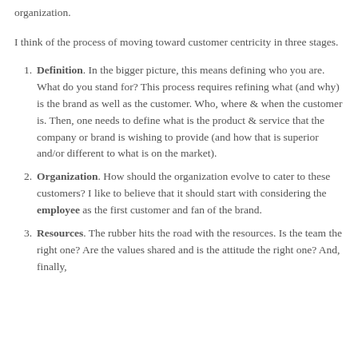organization.
I think of the process of moving toward customer centricity in three stages.
Definition. In the bigger picture, this means defining who you are. What do you stand for? This process requires refining what (and why) is the brand as well as the customer. Who, where & when the customer is. Then, one needs to define what is the product & service that the company or brand is wishing to provide (and how that is superior and/or different to what is on the market).
Organization. How should the organization evolve to cater to these customers? I like to believe that it should start with considering the employee as the first customer and fan of the brand.
Resources. The rubber hits the road with the resources. Is the team the right one? Are the values shared and is the attitude the right one? And, finally,